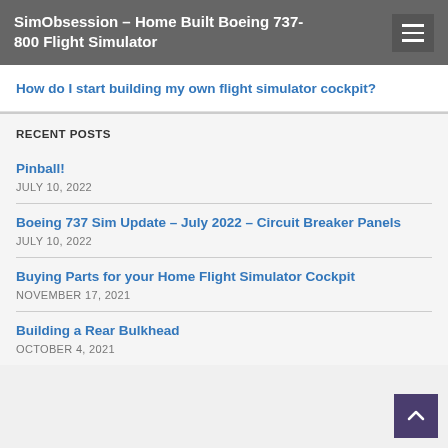SimObsession – Home Built Boeing 737-800 Flight Simulator
How do I start building my own flight simulator cockpit?
RECENT POSTS
Pinball!
JULY 10, 2022
Boeing 737 Sim Update – July 2022 – Circuit Breaker Panels
JULY 10, 2022
Buying Parts for your Home Flight Simulator Cockpit
NOVEMBER 17, 2021
Building a Rear Bulkhead
OCTOBER 4, 2021